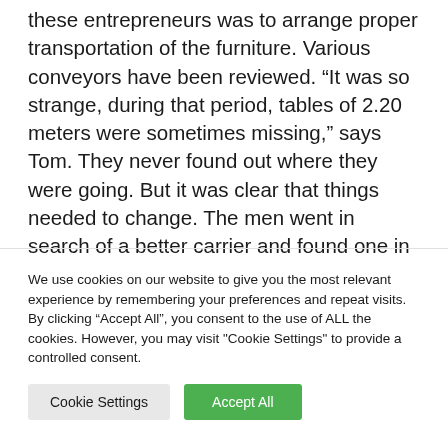these entrepreneurs was to arrange proper transportation of the furniture. Various conveyors have been reviewed. “It was so strange, during that period, tables of 2.20 meters were sometimes missing,” says Tom. They never found out where they were going. But it was clear that things needed to change. The men went in search of a better carrier and found one in Amsterdam. The
We use cookies on our website to give you the most relevant experience by remembering your preferences and repeat visits. By clicking “Accept All”, you consent to the use of ALL the cookies. However, you may visit "Cookie Settings" to provide a controlled consent.
Cookie Settings
Accept All